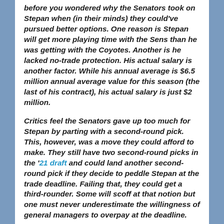before you wondered why the Senators took on Stepan when (in their minds) they could've pursued better options. One reason is Stepan will get more playing time with the Sens than he was getting with the Coyotes. Another is he lacked no-trade protection. His actual salary is another factor. While his annual average is $6.5 million annual average value for this season (the last of his contract), his actual salary is just $2 million.
Critics feel the Senators gave up too much for Stepan by parting with a second-round pick. This, however, was a move they could afford to make. They still have two second-round picks in the '21 draft and could land another second-round pick if they decide to peddle Stepan at the trade deadline. Failing that, they could get a third-rounder. Some will scoff at that notion but one must never underestimate the willingness of general managers to overpay at the deadline.